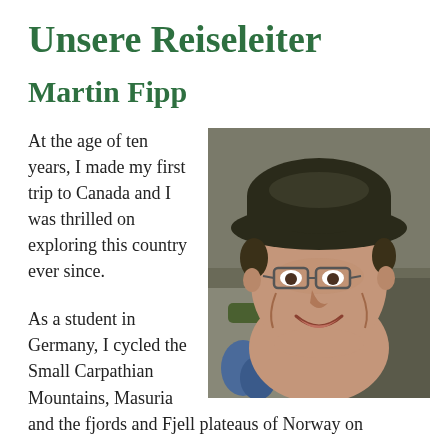Unsere Reiseleiter
Martin Fipp
At the age of ten years, I made my first trip to Canada and I was thrilled on exploring this country ever since.
[Figure (photo): Portrait photo of Martin Fipp, a middle-aged man wearing a dark wide-brimmed hat and glasses, smiling, with rocky terrain in background.]
As a student in Germany, I cycled the Small Carpathian Mountains, Masuria and the fjords and Fjell plateaus of Norway on